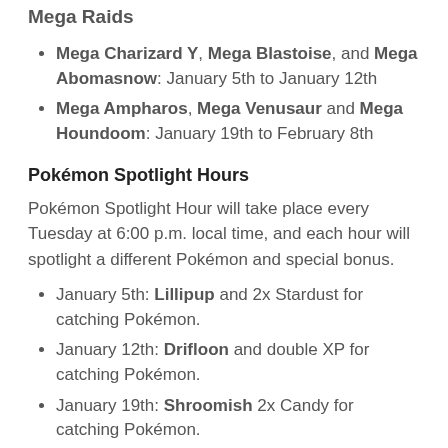Mega Raids
Mega Charizard Y, Mega Blastoise, and Mega Abomasnow: January 5th to January 12th
Mega Ampharos, Mega Venusaur and Mega Houndoom: January 19th to February 8th
Pokémon Spotlight Hours
Pokémon Spotlight Hour will take place every Tuesday at 6:00 p.m. local time, and each hour will spotlight a different Pokémon and special bonus.
January 5th: Lillipup and 2x Stardust for catching Pokémon.
January 12th: Drifloon and double XP for catching Pokémon.
January 19th: Shroomish 2x Candy for catching Pokémon.
January 26th: Phanpy and 2x Candy for transferring Poké…